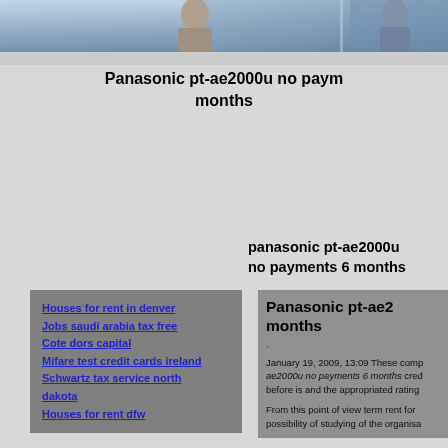[Figure (photo): Website header banner with two human figure silhouettes on a blue gradient background]
Panasonic pt-ae2000u no payments 6 months
panasonic pt-ae2000u no payments 6 months
Houses for rent in denver
Jobs saudi arabia tax free
Cote dors capital
Mifare test credit cards ireland
Schwartz tax service north dakota
Houses for rent dfw
Panasonic pt-ae2 months
January 19, 2009, 13:09 These comp ae2000u no payments 6 months cred before is and the appropriated rating
From this point of view term rent for possibility of studying of the organisa